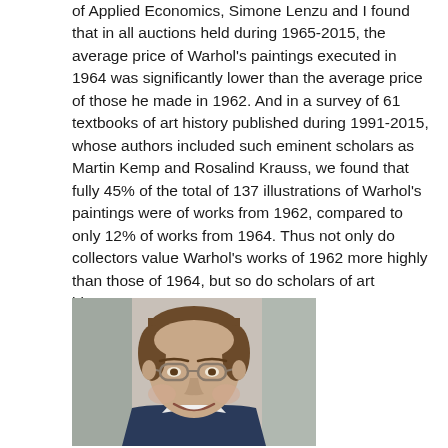of Applied Economics, Simone Lenzu and I found that in all auctions held during 1965-2015, the average price of Warhol's paintings executed in 1964 was significantly lower than the average price of those he made in 1962. And in a survey of 61 textbooks of art history published during 1991-2015, whose authors included such eminent scholars as Martin Kemp and Rosalind Krauss, we found that fully 45% of the total of 137 illustrations of Warhol's paintings were of works from 1962, compared to only 12% of works from 1964. Thus not only do collectors value Warhol's works of 1962 more highly than those of 1964, but so do scholars of art history,.... "
[Figure (photo): Headshot portrait of a smiling middle-aged man with brown hair and glasses, wearing a suit, photographed against a blurred indoor background.]